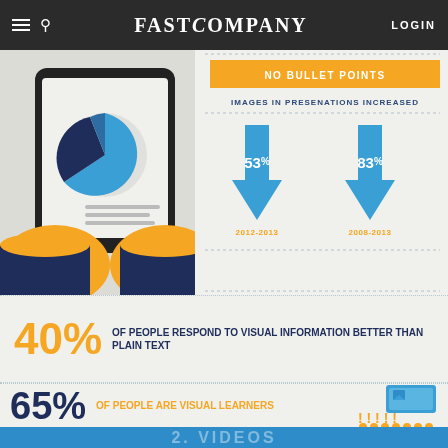FAST COMPANY
[Figure (infographic): Hands holding a tablet displaying a pie chart and data. Right side shows 'NO BULLET POINTS' banner with arrows indicating images in presentations increased 53% (2012-2013) and 83% (2008-2013).]
40% OF PEOPLE RESPOND TO VISUAL INFORMATION BETTER THAN PLAIN TEXT
65% OF PEOPLE ARE VISUAL LEARNERS
2. VIDEOS